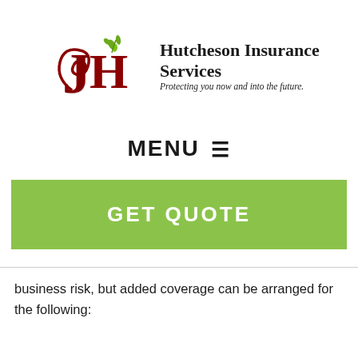[Figure (logo): Hutcheson Insurance Services logo with stylized red H lettering and green floral accent, with company name and tagline]
MENU ≡
GET QUOTE
business risk, but added coverage can be arranged for the following: